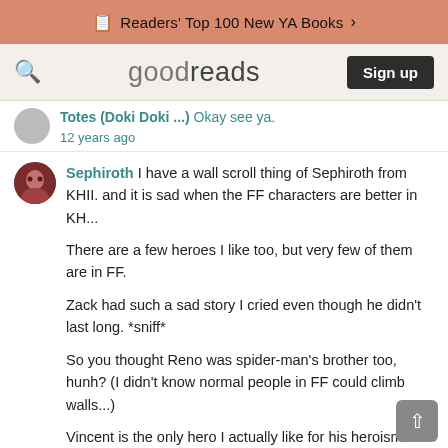Readers' Top 100 New YA Books >
goodreads  Sign up
Totes (Doki Doki ...) Okay see ya.
12 years ago
Sephiroth I have a wall scroll thing of Sephiroth from KHII. and it is sad when the FF characters are better in KH...

There are a few heroes I like too, but very few of them are in FF.

Zack had such a sad story I cried even though he didn't last long. *sniff*

So you thought Reno was spider-man's brother too, hunh? (I didn't know normal people in FF could climb walls...)

Vincent is the only hero I actually like for his heroism in FF. Cloud's too cliche, but I never Vincent coming IN Dirge of Cereberus, either, and that made Vincent extra-cool. XD